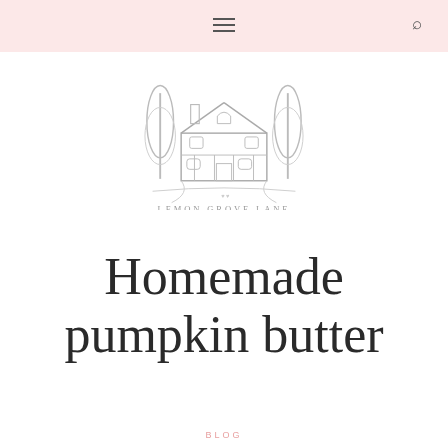≡  🔍
[Figure (logo): Line drawing illustration of a house with two tall trees on either side, with text 'LEMON GROVE LANE' below]
Homemade pumpkin butter
BLOG